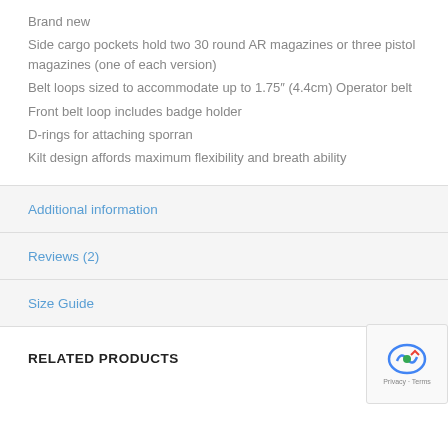Brand new
Side cargo pockets hold two 30 round AR magazines or three pistol magazines (one of each version)
Belt loops sized to accommodate up to 1.75″ (4.4cm) Operator belt
Front belt loop includes badge holder
D-rings for attaching sporran
Kilt design affords maximum flexibility and breath ability
Additional information
Reviews (2)
Size Guide
RELATED PRODUCTS